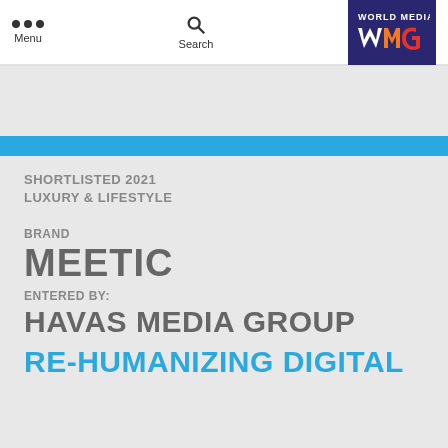[Figure (screenshot): Navigation bar with Menu (three dots), Search (magnifier icon), and World Media Group WMG logo in dark blue box]
[Figure (logo): WMG Creative Vault logo on blue banner background]
SHORTLISTED 2021
LUXURY & LIFESTYLE
BRAND
MEETIC
ENTERED BY:
HAVAS MEDIA GROUP
RE-HUMANIZING DIGITAL